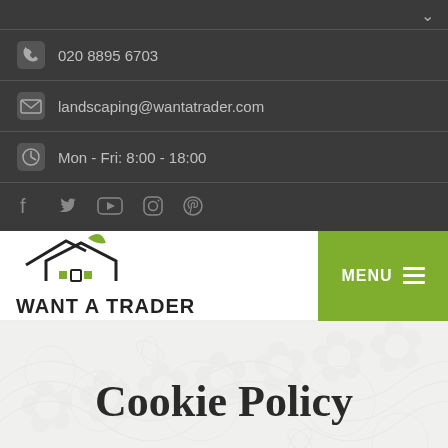✓ 020 8895 6703
landscaping@wantatrader.com
Mon - Fri: 8:00 - 18:00
[Figure (logo): Want A Trader logo with house outline and leaf icon, text WANT A TRADER]
Cookie Policy
Hayes Paving  > Cookie Policy